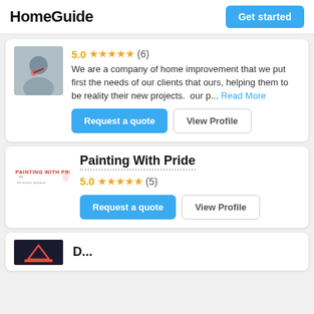HomeGuide | Get started
5.0 ★★★★★ (6)
We are a company of home improvement that we put first the needs of our clients that ours, helping them to be reality their new projects.  our p... Read More
Request a quote | View Profile
Painting With Pride
5.0 ★★★★★ (5)
Request a quote | View Profile
D...